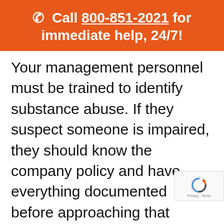☎ Call 800-851-2021 for immediate help, 24/7!
Your management personnel must be trained to identify substance abuse. If they suspect someone is impaired, they should know the company policy and have everything documented before approaching that employee. The suspected employee must then report for a drug test immediately.
Post-accident drug testing